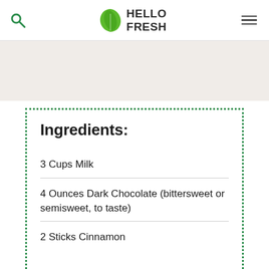HelloFresh header with search icon, logo, and menu icon
Ingredients:
3 Cups Milk
4 Ounces Dark Chocolate (bittersweet or semisweet, to taste)
2 Sticks Cinnamon